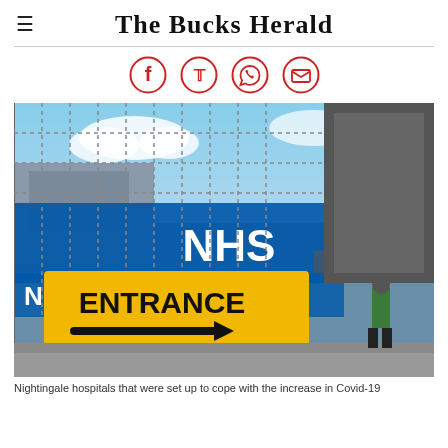The Bucks Herald
[Figure (illustration): Four social media share icons in a row: Facebook, Twitter, WhatsApp, Email — all outlined in red on white circular backgrounds]
[Figure (photo): NHS Nightingale Hospital Manchester entrance with a yellow ENTRANCE sign with arrow pointing right and NHS logo in blue, metal security fencing in foreground, security guard in hi-vis jacket in background, blue NHS Nightingale Hospital banner visible]
Nightingale hospitals that were set up to cope with the increase in Covid-19